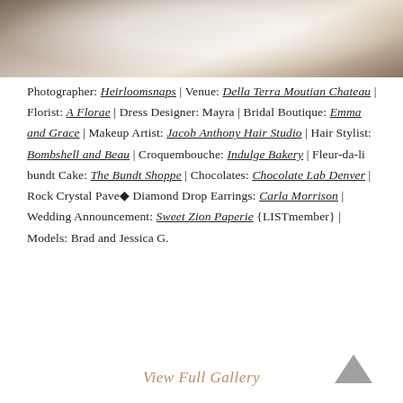[Figure (photo): Wedding photo showing bride in white dress and veil in a field with tall grasses, partially cropped at top]
Photographer: Heirloomsnaps | Venue: Della Terra Moutian Chateau | Florist: A Florae | Dress Designer: Mayra | Bridal Boutique: Emma and Grace | Makeup Artist: Jacob Anthony Hair Studio | Hair Stylist: Bombshell and Beau | Croquembouche: Indulge Bakery | Fleur-da-li bundt Cake: The Bundt Shoppe | Chocolates: Chocolate Lab Denver | Rock Crystal Pave◆ Diamond Drop Earrings: Carla Morrison | Wedding Announcement: Sweet Zion Paperie {LISTmember} | Models: Brad and Jessica G.
View Full Gallery